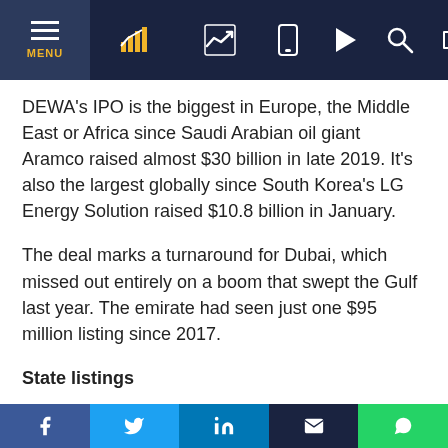Navigation bar with MENU, chart icons, and utility icons (phone, play, search, login)
DEWA's IPO is the biggest in Europe, the Middle East or Africa since Saudi Arabian oil giant Aramco raised almost $30 billion in late 2019. It's also the largest globally since South Korea's LG Energy Solution raised $10.8 billion in January.
The deal marks a turnaround for Dubai, which missed out entirely on a boom that swept the Gulf last year. The emirate had seen just one $95 million listing since 2017.
State listings
Dubai is trying to reinvigorate its capital markets and boost sagging trading volumes to catch up with rivals Abu Dhabi and Riyadh. The government plans to list 10 state companies, of which DEWA is the first.
Social share buttons: Facebook, Twitter, LinkedIn, Email, WhatsApp